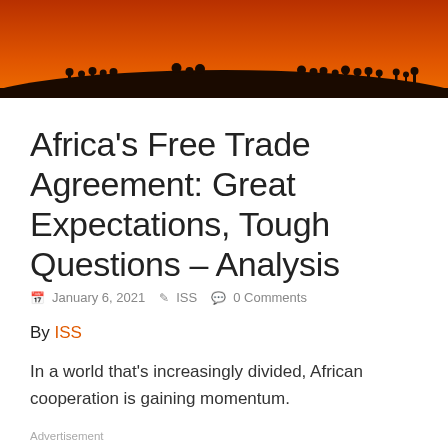[Figure (photo): Silhouettes of people standing on a hilltop against an orange-red sunset sky]
Africa’s Free Trade Agreement: Great Expectations, Tough Questions – Analysis
January 6, 2021  ISS  0 Comments
By ISS
In a world that’s increasingly divided, African cooperation is gaining momentum.
Advertisement
By Teniola Tayo*